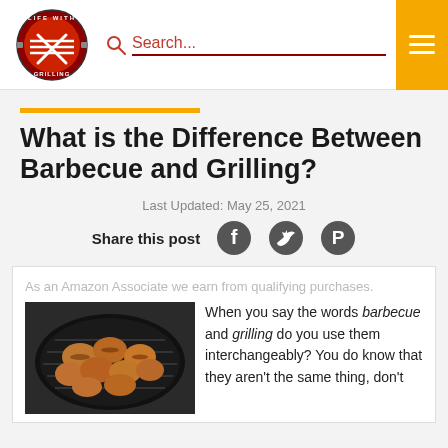[Figure (logo): Life With Grilling circular logo with crossed spatula and fork on red background]
Search...
What is the Difference Between Barbecue and Grilling?
Last Updated: May 25, 2021
Share this post
As an Amazon Associate we earn from qualifying purchases.
When you say the words barbecue and grilling do you use them interchangeably? You do know that they aren't the same thing, don't
[Figure (photo): Photo of grilled chicken pieces on a round grill grate]